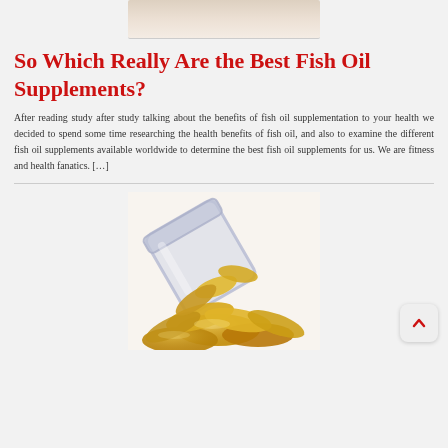[Figure (photo): Partial view of fish oil supplement capsules or pills, light pinkish background, top portion cropped]
So Which Really Are the Best Fish Oil Supplements?
After reading study after study talking about the benefits of fish oil supplementation to your health we decided to spend some time researching the health benefits of fish oil, and also to examine the different fish oil supplements available worldwide to determine the best fish oil supplements for us. We are fitness and health fanatics. […]
[Figure (photo): A glass jar tipped over with golden fish oil supplement capsules/softgels spilling out onto a surface]
[Figure (other): Scroll-to-top button icon in bottom right corner, chevron/up arrow in red on light grey rounded square background]